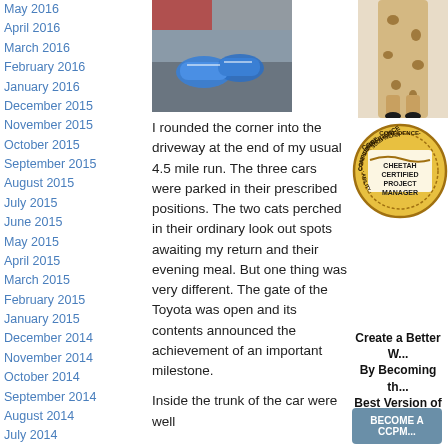May 2016
April 2016
March 2016
February 2016
January 2016
December 2015
November 2015
October 2015
September 2015
August 2015
July 2015
June 2015
May 2015
April 2015
March 2015
February 2015
January 2015
December 2014
November 2014
October 2014
September 2014
August 2014
July 2014
June 2014
May 2014
April 2014
March 2014
February 2014
January 2014
December 2013
September 2013
August 2013
July 2013
June 2013
May 2013
April 2013
March 2013
[Figure (photo): Photo of blue running shoes in the trunk of a car]
I rounded the corner into the driveway at the end of my usual 4.5 mile run. The three cars were parked in their prescribed positions. The two cats perched in their ordinary look out spots awaiting my return and their evening meal. But one thing was very different. The gate of the Toyota was open and its contents announced the achievement of an important milestone.
Inside the trunk of the car were well
[Figure (photo): Cheetah legs photo at top right]
[Figure (logo): Cheetah Certified Project Manager gold seal badge with text CONFIDENCE, KNOWLEDGE, ABILITY around the border]
Create a Better W... By Becoming th... Best Version of Y...
BECOME A CCPM...